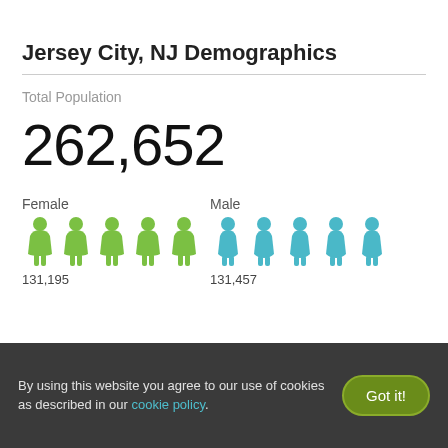Jersey City, NJ Demographics
Total Population
262,652
[Figure (infographic): Gender split pictogram showing 5 green female figures and 5 blue male figures. Female: 131,195. Male: 131,457.]
By using this website you agree to our use of cookies as described in our cookie policy. Got it!